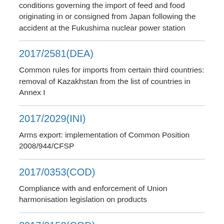conditions governing the import of feed and food originating in or consigned from Japan following the accident at the Fukushima nuclear power station
2017/2581(DEA)
Common rules for imports from certain third countries: removal of Kazakhstan from the list of countries in Annex I
2017/2029(INI)
Arms export: implementation of Common Position 2008/944/CFSP
2017/0353(COD)
Compliance with and enforcement of Union harmonisation legislation on products
2017/0158(COD)